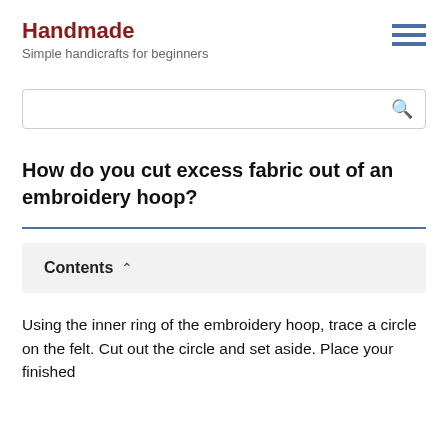Handmade
Simple handicrafts for beginners
[Figure (other): Hamburger menu icon with three horizontal blue lines]
[Figure (other): Search input box with magnifying glass icon]
How do you cut excess fabric out of an embroidery hoop?
Contents
Using the inner ring of the embroidery hoop, trace a circle on the felt. Cut out the circle and set aside. Place your finished embroidery in the hoop, stretching it on and tightening the...